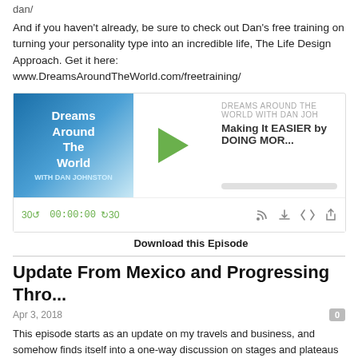dan/
And if you haven't already, be sure to check out Dan's free training on turning your personality type into an incredible life, The Life Design Approach. Get it here: www.DreamsAroundTheWorld.com/freetraining/
[Figure (screenshot): Podcast player widget for 'Dreams Around The World With Dan Joh' showing episode 'Making It EASIER by DOING MOR...' with play button, progress bar, and playback controls showing 00:00:00]
Download this Episode
Update From Mexico and Progressing Thro...
Apr 3, 2018
This episode starts as an update on my travels and business, and somehow finds itself into a one-way discussion on stages and plateaus when you're trying to improve your life.
In this episode I mention the event we're doing here in Playa Del Carmen, Mexico: www.LifeDesignFiesta.com as well as my new, frequent use of Instagram www.instagram.com/thedanjohnston .